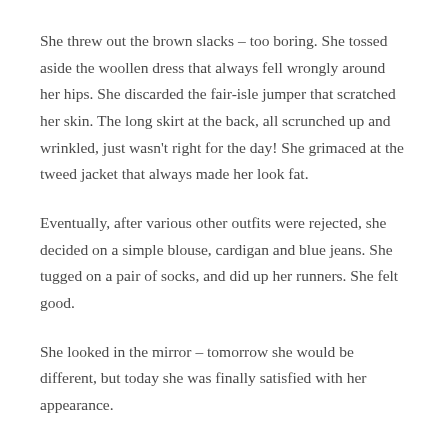She threw out the brown slacks – too boring. She tossed aside the woollen dress that always fell wrongly around her hips. She discarded the fair-isle jumper that scratched her skin. The long skirt at the back, all scrunched up and wrinkled, just wasn't right for the day! She grimaced at the tweed jacket that always made her look fat.
Eventually, after various other outfits were rejected, she decided on a simple blouse, cardigan and blue jeans. She tugged on a pair of socks, and did up her runners. She felt good.
She looked in the mirror – tomorrow she would be different, but today she was finally satisfied with her appearance.